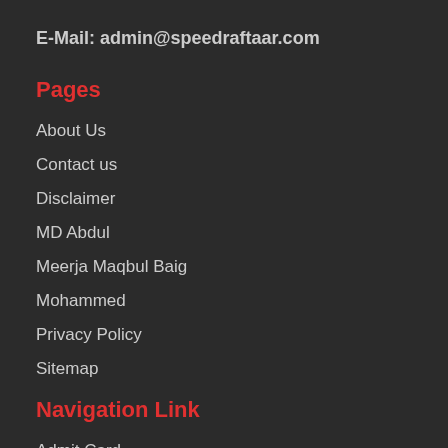E-Mail: admin@speedraftaar.com
Pages
About Us
Contact us
Disclaimer
MD Abdul
Meerja Maqbul Baig
Mohammed
Privacy Policy
Sitemap
Navigation Link
Admit Card
Answer Keys
Contest Results